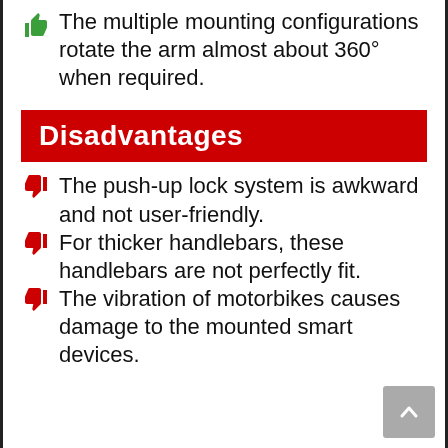The multiple mounting configurations rotate the arm almost about 360° when required.
Disadvantages
The push-up lock system is awkward and not user-friendly.
For thicker handlebars, these handlebars are not perfectly fit.
The vibration of motorbikes causes damage to the mounted smart devices.